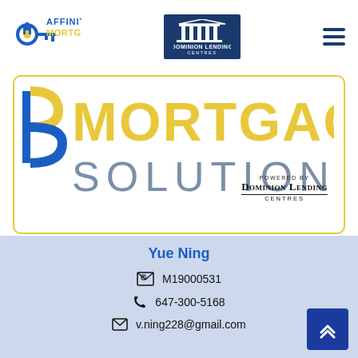[Figure (logo): Affinity Mortgage logo with house and key icon in blue/yellow, text AFFINITY MORTGAGE in blue and yellow]
[Figure (logo): Dominion Lending Centres logo in navy blue box with pillars icon]
[Figure (logo): Mortgage Solutions branding with blue/yellow letter B icon and MORTGAGE SOLUTIONS text, powered by Dominion Lending Centres]
Yue Ning
M19000531
647-300-5168
v.ning228@gmail.com